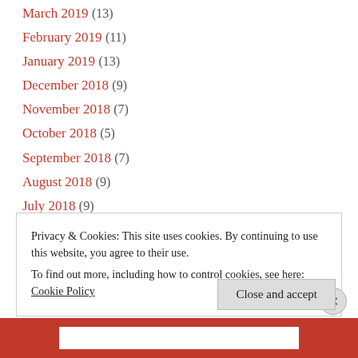March 2019 (13)
February 2019 (11)
January 2019 (13)
December 2018 (9)
November 2018 (7)
October 2018 (5)
September 2018 (7)
August 2018 (9)
July 2018 (9)
Privacy & Cookies: This site uses cookies. By continuing to use this website, you agree to their use.
To find out more, including how to control cookies, see here:
Cookie Policy
Close and accept